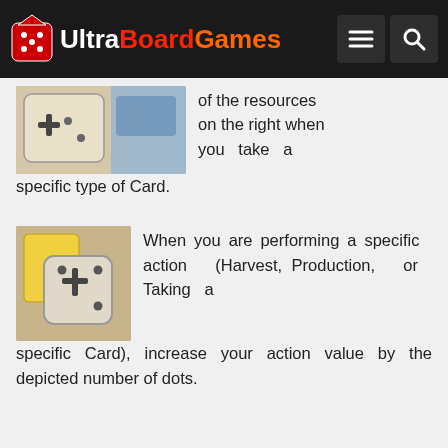UltraBoardGames
[Figure (photo): Board game card showing plus symbol and dots, partially visible]
of the resources on the right when you take a specific type of Card.
[Figure (photo): Board game token with yellow card and die showing plus symbol and dots]
When you are performing a specific action (Harvest, Production, or Taking a specific Card), increase your action value by the depicted number of dots.